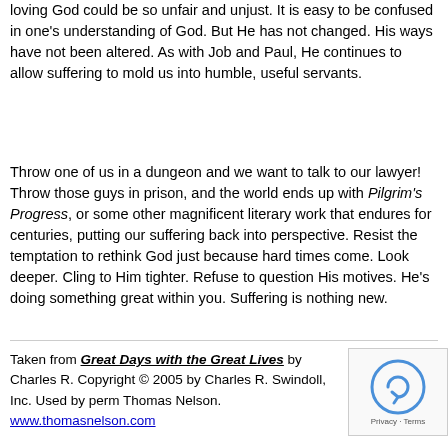loving God could be so unfair and unjust. It is easy to be confused in one's understanding of God. But He has not changed. His ways have not been altered. As with Job and Paul, He continues to allow suffering to mold us into humble, useful servants.
Throw one of us in a dungeon and we want to talk to our lawyer! Throw those guys in prison, and the world ends up with Pilgrim's Progress, or some other magnificent literary work that endures for centuries, putting our suffering back into perspective. Resist the temptation to rethink God just because hard times come. Look deeper. Cling to Him tighter. Refuse to question His motives. He's doing something great within you. Suffering is nothing new.
Taken from Great Days with the Great Lives by Charles R. Copyright © 2005 by Charles R. Swindoll, Inc. Used by perm Thomas Nelson. www.thomasnelson.com